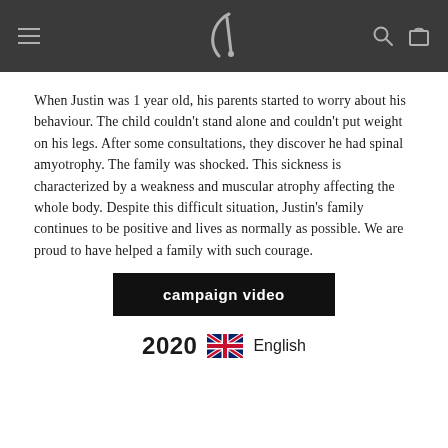Navigation header with logo, hamburger menu, search and cart icons
When Justin was 1 year old, his parents started to worry about his behaviour. The child couldn't stand alone and couldn't put weight on his legs. After some consultations, they discover he had spinal amyotrophy. The family was shocked. This sickness is characterized by a weakness and muscular atrophy affecting the whole body. Despite this difficult situation, Justin's family continues to be positive and lives as normally as possible. We are proud to have helped a family with such courage.
campaign video
2020  English